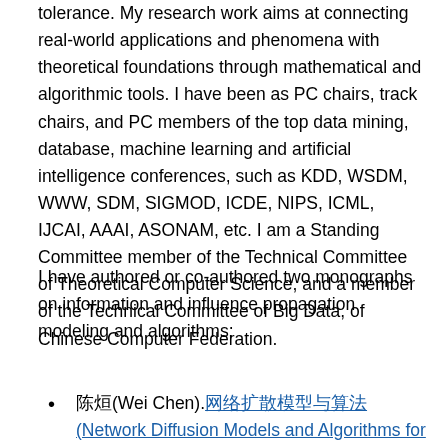tolerance. My research work aims at connecting real-world applications and phenomena with theoretical foundations through mathematical and algorithmic tools. I have been as PC chairs, track chairs, and PC members of the top data mining, database, machine learning and artificial intelligence conferences, such as KDD, WSDM, WWW, SDM, SIGMOD, ICDE, NIPS, ICML, IJCAI, AAAI, ASONAM, etc. I am a Standing Committee member of the Technical Committee of Theoretical Computer Science, and a member of the Technical Committee of Big Data, of Chinese Computer Federation.
I have authored or co-authored two monographs on information and influence propagation modeling and algorithms:
陈炜(Wei Chen).网络扩散模型与算法 (Network Diffusion Models and Algorithms for Big Data).